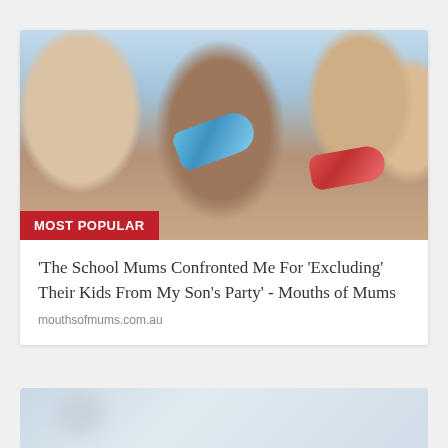[Figure (photo): Children blowing colorful party horns/blowers at a birthday party. Multiple kids visible, one with curly dark hair, one blond on left, one blond on right. Blue and red party horns visible.]
MOST POPULAR
'The School Mums Confronted Me For 'Excluding' Their Kids From My Son's Party' - Mouths of Mums
mouthsofmums.com.au
[Figure (photo): Partial bottom image showing blurred objects, appears to be a second article preview image, partially cut off at the bottom of the page.]